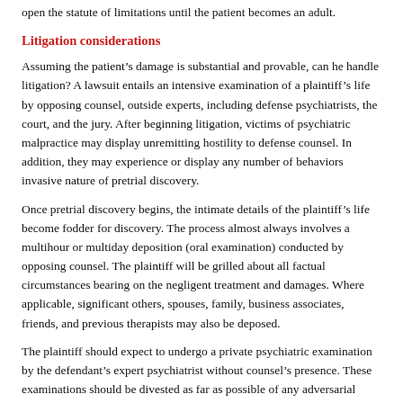open the statute of limitations until the patient becomes an adult.
Litigation considerations
Assuming the patient’s damage is substantial and provable, can he handle litigation? A lawsuit entails an intensive examination of a plaintiff’s life by opposing counsel, outside experts, including defense psychiatrists, the court, and the jury. After beginning litigation, victims of psychiatric malpractice may display unremitting hostility to defense counsel. In addition, they may experience or display any number of behaviors invasive nature of pretrial discovery.
Once pretrial discovery begins, the intimate details of the plaintiff’s life become fodder for discovery. The process almost always involves a multihour or multiday deposition (oral examination) conducted by opposing counsel. The plaintiff will be grilled about all factual circumstances bearing on the negligent treatment and damages. Where applicable, significant others, spouses, family, business associates, friends, and previous therapists may also be deposed.
The plaintiff should expect to undergo a private psychiatric examination by the defendant’s expert psychiatrist without counsel’s presence. These examinations should be divested as far as possible of any adversarial character. Anticipation of the independent medical examination can be